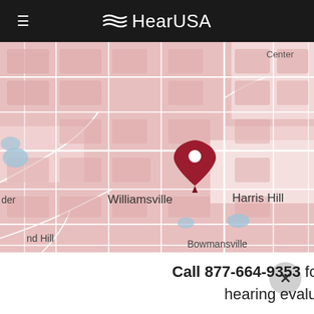HearUSA
[Figure (map): Street map showing Williamsville, Harris Hill, and Bowmansville area with a red location pin marker in the center]
Call 877-664-9353 for your FREE hearing evaluation